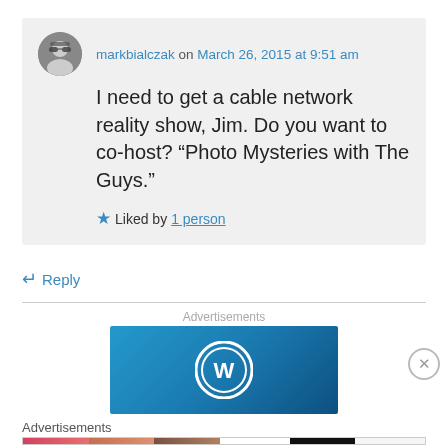markbialczak on March 26, 2015 at 9:51 am
I need to get a cable network reality show, Jim. Do you want to co-host? “Photo Mysteries with The Guys.”
★ Liked by 1 person
↳ Reply
Advertisements
[Figure (logo): WordPress logo on blue gradient background advertisement banner]
Advertisements
[Figure (photo): Bottom advertisement strip showing beauty/makeup product ads with Ulta Beauty logo and SHOP NOW button]